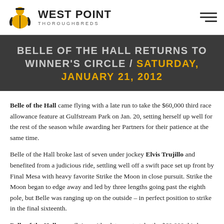WEST POINT THOROUGHBREDS
BELLE OF THE HALL RETURNS TO WINNER'S CIRCLE / SATURDAY, JANUARY 21, 2012
Belle of the Hall came flying with a late run to take the $60,000 third race allowance feature at Gulfstream Park on Jan. 20, setting herself up well for the rest of the season while awarding her Partners for their patience at the same time.
Belle of the Hall broke last of seven under jockey Elvis Trujillo and benefited from a judicious ride, settling well off a swift pace set up front by Final Mesa with heavy favorite Strike the Moon in close pursuit. Strike the Moon began to edge away and led by three lengths going past the eighth pole, but Belle was ranging up on the outside – in perfect position to strike in the final sixteenth.
Belle of the Hall came flying with a late run to take the $60,000 third race allowance feature at Gulfstream Park on Jan. 20, setting herself up well